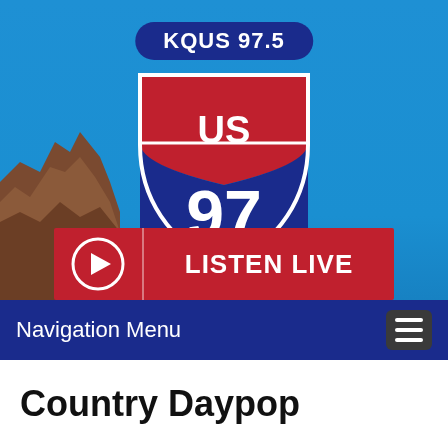[Figure (logo): KQUS 97.5 US 97 radio station logo with shield shape, red and blue colors, on blue sky background with rocky cliff. Includes a red 'Listen Live' button with play icon below the shield, and a dark blue navigation menu bar.]
Navigation Menu
Country Daypop